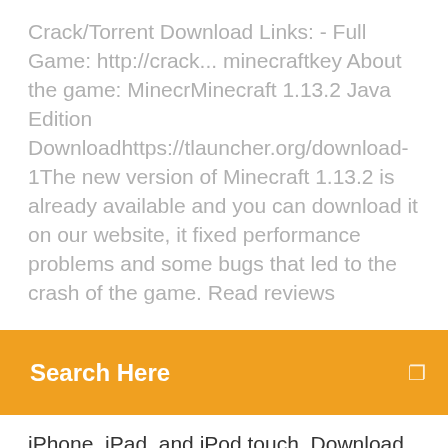Crack/Torrent Download Links: - Full Game: http://crack... minecraftkey About the game: MinecrMinecraft 1.13.2 Java Edition Downloadhttps://tlauncher.org/download-1The new version of Minecraft 1.13.2 is already available and you can download it on our website, it fixed performance problems and some bugs that led to the crash of the game. Read reviews
Search Here
iPhone, iPad, and iPod touch. Download Minecraft adventure mode And RPG latest version with custom maps new and switch to adventure with multiplayer story mode adventure Minecraft Story Mode is the 2016 Newly Relased pc game the game is based on story mode in which the player has to play this game as Mode in story,the game is based on an open world map and some new Features has been added in this game for...
8 Aug 2019 During the Microsoft convention at E3 2019, a spin-